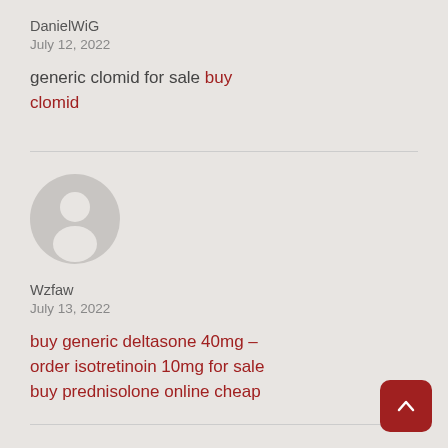DanielWiG
July 12, 2022
generic clomid for sale buy clomid
[Figure (illustration): Generic user avatar icon — grey circle with white silhouette of a person]
Wzfaw
July 13, 2022
buy generic deltasone 40mg – order isotretinoin 10mg for sale buy prednisolone online cheap